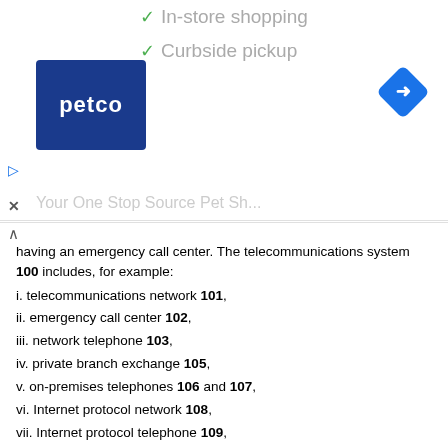[Figure (screenshot): Advertisement banner showing Petco logo with checkmarks for in-store shopping and curbside pickup, and a navigation/direction icon]
having an emergency call center. The telecommunications system 100 includes, for example:
i. telecommunications network 101,
ii. emergency call center 102,
iii. network telephone 103,
iv. private branch exchange 105,
v. on-premises telephones 106 and 107,
vi. Internet protocol network 108,
vii. Internet protocol telephone 109,
viii. cellular protocol network 110, and
ix. cellular telephones 112 and 113, each of which can be interconnected as shown.
The telecommunications network 101 is one of multiple.